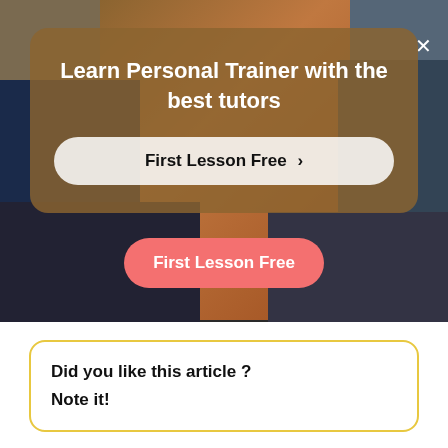[Figure (screenshot): Hero banner showing a collage of people in various activities (music, fitness, etc.) with a semi-transparent brown overlay card containing text and CTA buttons, plus a pink 'First Lesson Free' button below the card.]
Learn Personal Trainer with the best tutors
First Lesson Free >
First Lesson Free
Did you like this article ?
Note it!